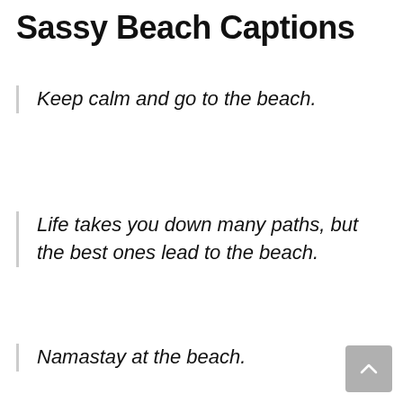Sassy Beach Captions
Keep calm and go to the beach.
Life takes you down many paths, but the best ones lead to the beach.
Namastay at the beach.